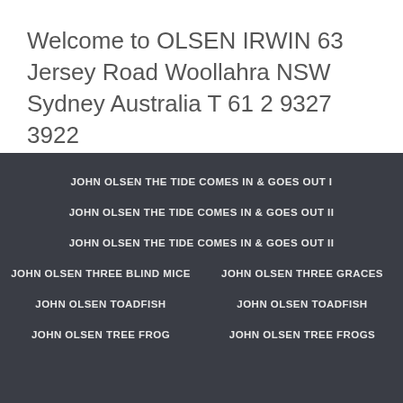Welcome to OLSEN IRWIN 63 Jersey Road Woollahra NSW Sydney Australia T 61 2 9327 3922
JOHN OLSEN THE TIDE COMES IN & GOES OUT I
JOHN OLSEN THE TIDE COMES IN & GOES OUT II
JOHN OLSEN THE TIDE COMES IN & GOES OUT II
JOHN OLSEN THREE BLIND MICE
JOHN OLSEN THREE GRACES
JOHN OLSEN TOADFISH
JOHN OLSEN TOADFISH
JOHN OLSEN TREE FROG
JOHN OLSEN TREE FROGS